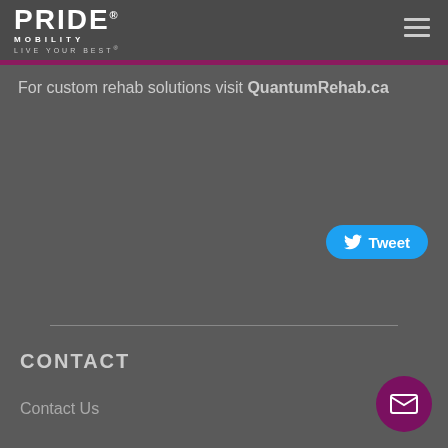[Figure (logo): Pride Mobility logo with PRIDE text, MOBILITY subtitle, and LIVE YOUR BEST tagline]
For custom rehab solutions visit QuantumRehab.ca
[Figure (other): Tweet button with Twitter bird icon]
CONTACT
Contact Us
[Figure (other): Mail/envelope icon button in purple circle]